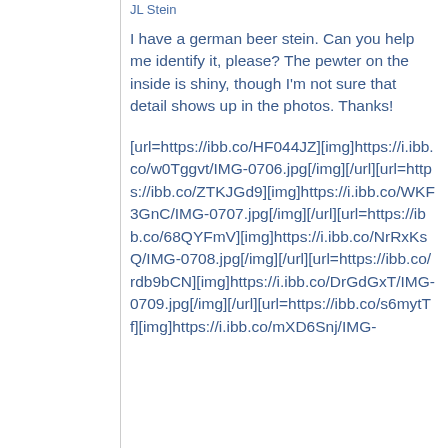JL Stein
I have a german beer stein. Can you help me identify it, please? The pewter on the inside is shiny, though I'm not sure that detail shows up in the photos. Thanks!
[url=https://ibb.co/HF044JZ][img]https://i.ibb.co/w0Tggvt/IMG-0706.jpg[/img][/url][url=https://ibb.co/ZTKJGd9][img]https://i.ibb.co/WKF3GnC/IMG-0707.jpg[/img][/url][url=https://ibb.co/68QYFmV][img]https://i.ibb.co/NrRxKsQ/IMG-0708.jpg[/img][/url][url=https://ibb.co/rdb9bCN][img]https://i.ibb.co/DrGdGxT/IMG-0709.jpg[/img][/url][url=https://ibb.co/s6mytTf][img]https://i.ibb.co/mXD6Snj/IMG-